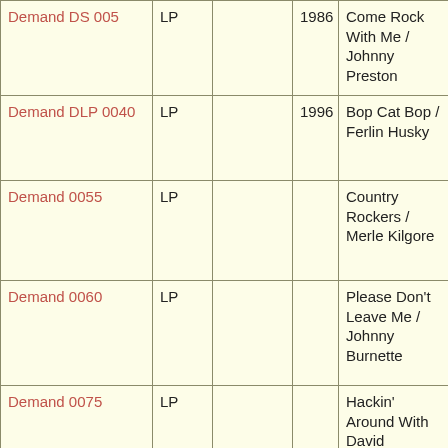| Catalog | Format |  | Year | Title / Artist |
| --- | --- | --- | --- | --- |
| Demand DS 005 | LP |  | 1986 | Come Rock With Me / Johnny Preston |
| Demand DLP 0040 | LP |  | 1996 | Bop Cat Bop / Ferlin Husky |
| Demand 0055 | LP |  |  | Country Rockers / Merle Kilgore |
| Demand 0060 | LP |  |  | Please Don't Leave Me / Johnny Burnette |
| Demand 0075 | LP |  |  | Hackin' Around With David Houston |
| Demand DSLP 0080 | LP |  |  | Rocket Ride Stroll / ... |